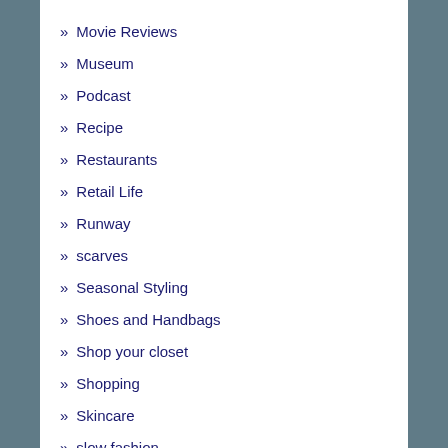Movie Reviews
Museum
Podcast
Recipe
Restaurants
Retail Life
Runway
scarves
Seasonal Styling
Shoes and Handbags
Shop your closet
Shopping
Skincare
slow fashion
Slow Fashion Season